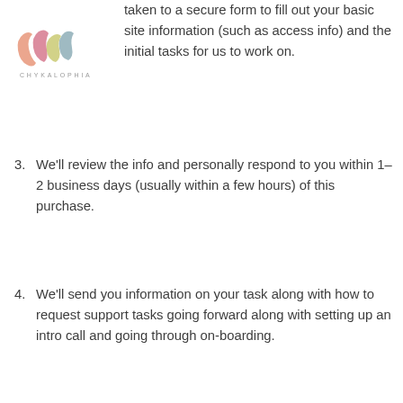[Figure (logo): Chykalophia logo — stylized colorful icon with text CHYKALOPHIA below]
taken to a secure form to fill out your basic site information (such as access info) and the initial tasks for us to work on.
3. We'll review the info and personally respond to you within 1–2 business days (usually within a few hours) of this purchase.
4. We'll send you information on your task along with how to request support tasks going forward along with setting up an intro call and going through on-boarding.
A quick reminder of what's includes in the Website Care Plan:
Select hours of active support per